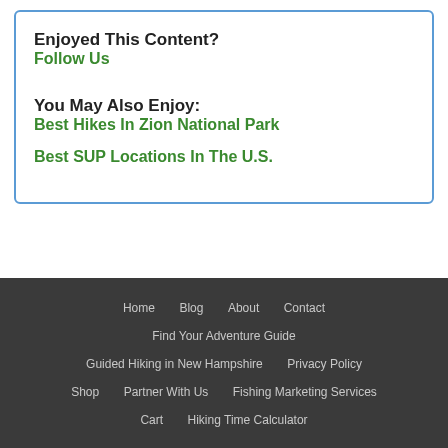Enjoyed This Content?
Follow Us
You May Also Enjoy:
Best Hikes In Zion National Park
Best SUP Locations In The U.S.
Home  Blog  About  Contact  Find Your Adventure Guide  Guided Hiking in New Hampshire  Privacy Policy  Shop  Partner With Us  Fishing Marketing Services  Cart  Hiking Time Calculator